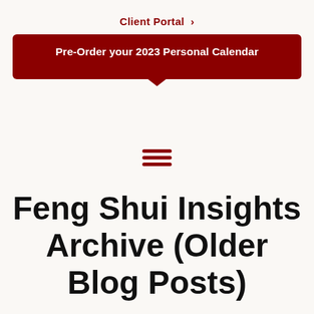Client Portal ›
Pre-Order your 2023 Personal Calendar
[Figure (other): Hamburger menu icon with three horizontal dark red lines]
Feng Shui Insights Archive (Older Blog Posts)